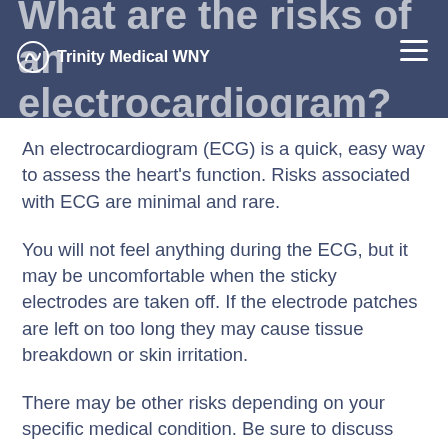What are the risks of an electrocardiogram?
An electrocardiogram (ECG) is a quick, easy way to assess the heart's function. Risks associated with ECG are minimal and rare.
You will not feel anything during the ECG, but it may be uncomfortable when the sticky electrodes are taken off. If the electrode patches are left on too long they may cause tissue breakdown or skin irritation.
There may be other risks depending on your specific medical condition. Be sure to discuss any concerns with your doctor prior to the procedure.
Certain factors or conditions may interfere with or affect the results of the ECG. These include, but are